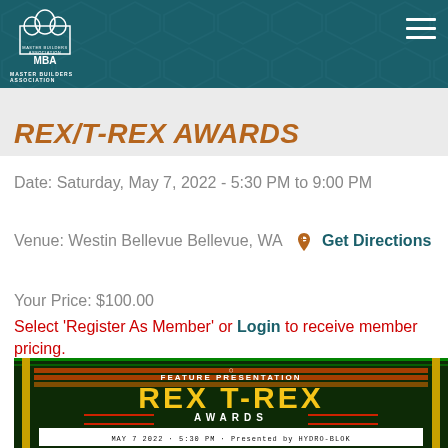[Figure (logo): Master Builders Association logo in header navigation bar with teal/dark green background and hexagon pattern]
REX/T-REX AWARDS
Date: Saturday, May 7, 2022 - 5:30 PM to 9:00 PM
Venue: Westin Bellevue Bellevue, WA  Get Directions
Your Price: $100.00
Select 'Register As Member' or Login to receive member pricing.
[Figure (photo): Movie theater marquee style event banner showing 'FEATURE PRESENTATION REX T-REX AWARDS MAY 7 2022 5:30 PM Presented by HYDRO-BLOK' with gold/yellow lettering on dark background with green neon accents]